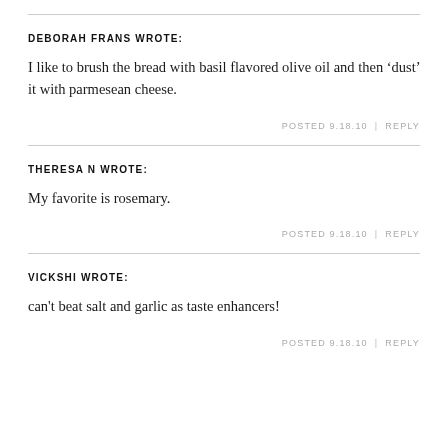DEBORAH FRANS WROTE:
I like to brush the bread with basil flavored olive oil and then ‘dust’ it with parmesean cheese.
POSTED 9.18.10   |   REPLY
THERESA N WROTE:
My favorite is rosemary.
POSTED 9.18.10   |   REPLY
VICKSHI WROTE:
can't beat salt and garlic as taste enhancers!
POSTED 9.18.10   |   REPLY